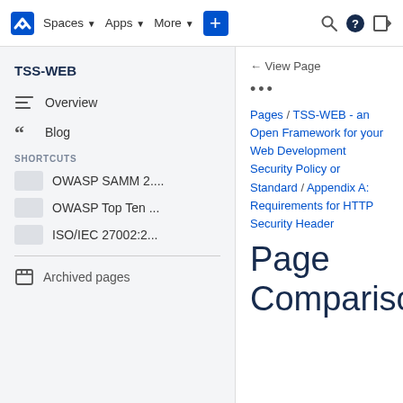Spaces | Apps | More | + | Search | Help | Sign in
TSS-WEB
Overview
Blog
SHORTCUTS
OWASP SAMM 2....
OWASP Top Ten ...
ISO/IEC 27002:2...
Archived pages
← View Page
•••
Pages / TSS-WEB - an Open Framework for your Web Development Security Policy or Standard / Appendix A: Requirements for HTTP Security Header
Page Comparison